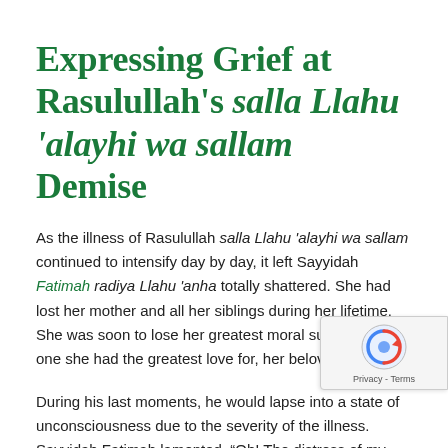Expressing Grief at Rasulullah's salla Llahu 'alayhi wa sallam Demise
As the illness of Rasulullah salla Llahu 'alayhi wa sallam continued to intensify day by day, it left Sayyidah Fatimah radiya Llahu 'anha totally shattered. She had lost her mother and all her siblings during her lifetime. She was soon to lose her greatest moral support, the one she had the greatest love for, her beloved father.
During his last moments, he would lapse into a state of unconsciousness due to the severity of the illness. Sayyidah Fatimah lamented, “Oh! The distress of my father.” He consoled her, “There will be no distress upon your father after today.”